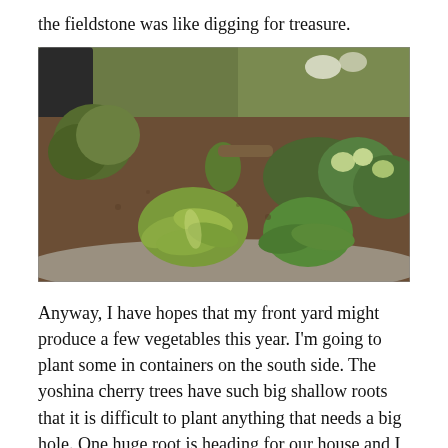the fieldstone was like digging for treasure.
[Figure (photo): Outdoor garden bed with various plants including hostas and hellebores growing in dark mulched soil, with rocks visible at the edges. A car and more vegetation are visible in the background.]
Anyway, I have hopes that my front yard might produce a few vegetables this year. I'm going to plant some in containers on the south side. The yoshina cherry trees have such big shallow roots that it is difficult to plant anything that needs a big hole. One huge root is heading for our house and I guess we need to cut it with